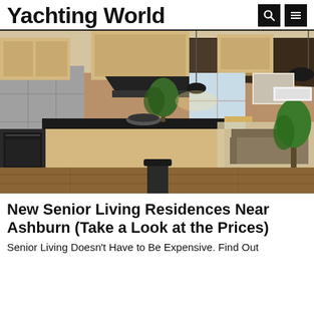Yachting World
[Figure (photo): Interior photo of a modern open-plan apartment with light wood kitchen cabinets, island with black countertop, dining area, and living room with sofa and plants. Warm pendant lighting overhead.]
New Senior Living Residences Near Ashburn (Take a Look at the Prices)
Senior Living Doesn't Have to Be Expensive. Find Out
[Figure (screenshot): Wayfair advertisement banner. Shows a thumbnail of bedroom furniture. Text: Wayfair.com - Online Home Store Sale! Shop for A Zillion Things Home across all styles at Wayfair! www.wayfair.com. Blue circular arrow button on right. Close X button and info icon at top right.]